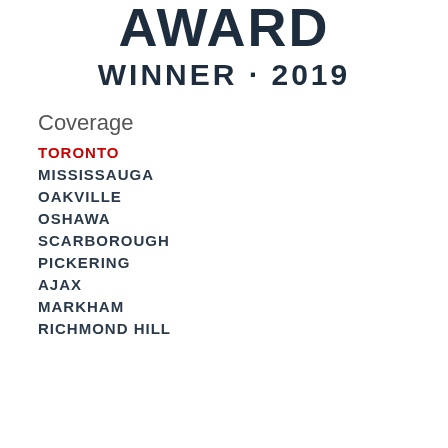AWARD WINNER · 2019
Coverage
TORONTO
MISSISSAUGA
OAKVILLE
OSHAWA
SCARBOROUGH
PICKERING
AJAX
MARKHAM
RICHMOND HILL